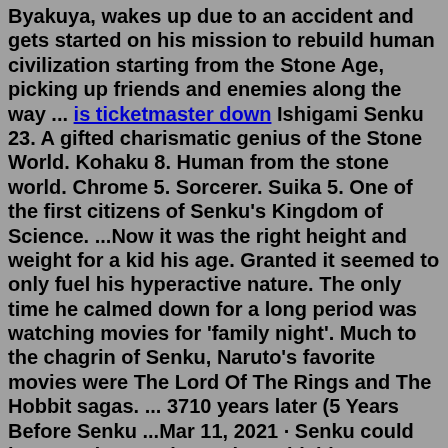Byakuya, wakes up due to an accident and gets started on his mission to rebuild human civilization starting from the Stone Age, picking up friends and enemies along the way ... is ticketmaster down Ishigami Senku 23. A gifted charismatic genius of the Stone World. Kohaku 8. Human from the stone world. Chrome 5. Sorcerer. Suika 5. One of the first citizens of Senku's Kingdom of Science. ...Now it was the right height and weight for a kid his age. Granted it seemed to only fuel his hyperactive nature. The only time he calmed down for a long period was watching movies for 'family night'. Much to the chagrin of Senku, Naruto's favorite movies were The Lord Of The Rings and The Hobbit sagas. ... 3710 years later (5 Years Before Senku ...Mar 11, 2021 · Senku could have made crossbows, iron shields, tear gas, and many other non-lethal means of subduing Tsukasa's stone-age army. Instead, they wasted the whole winter making a walkie-talkie. 4 ... Senku was born January 4th, 2004 Chapter 1, he is 15 As of chapter 32, he is 16 In chapter 56, 17 In chapter 99, he could drink in